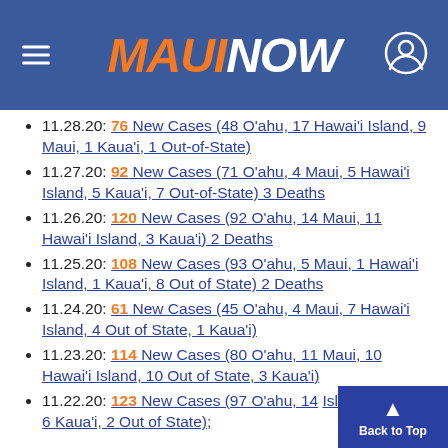MAUI NOW
11.28.20: 76 New Cases (48 O'ahu, 17 Hawai'i Island, 9 Maui, 1 Kaua'i, 1 Out-of-State)
11.27.20: 92 New Cases (71 O'ahu, 4 Maui, 5 Hawai'i Island, 5 Kaua'i, 7 Out-of-State) 3 Deaths
11.26.20: 120 New Cases (92 O'ahu, 14 Maui, 11 Hawai'i Island, 3 Kaua'i) 2 Deaths
11.25.20: 108 New Cases (93 O'ahu, 5 Maui, 1 Hawai'i Island, 1 Kaua'i, 8 Out of State) 2 Deaths
11.24.20: 61 New Cases (45 O'ahu, 4 Maui, 7 Hawai'i Island, 4 Out of State, 1 Kaua'i)
11.23.20: 114 New Cases (80 O'ahu, 11 Maui, 10 Hawai'i Island, 10 Out of State, 3 Kaua'i)
11.22.20: 123 New Cases (97 O'ahu, 14 Island, 4 Maui, 6 Kaua'i, 2 Out of State);